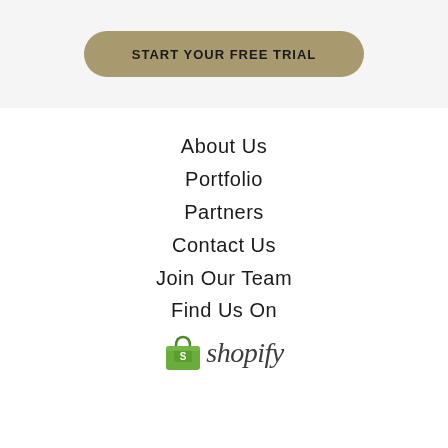START YOUR FREE TRIAL
About Us
Portfolio
Partners
Contact Us
Join Our Team
Find Us On
[Figure (logo): Shopify logo with green shopping bag icon and 'shopify' italic text]